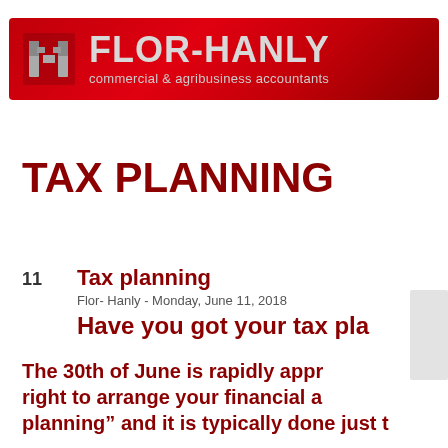[Figure (logo): Flor-Hanly commercial & agribusiness accountants logo on red banner background]
TAX PLANNING
11
Tax planning
Flor- Hanly - Monday, June 11, 2018
Have you got your tax pla
The 30th of June is rapidly appr right to arrange your financial a planning" and it is typically done just t